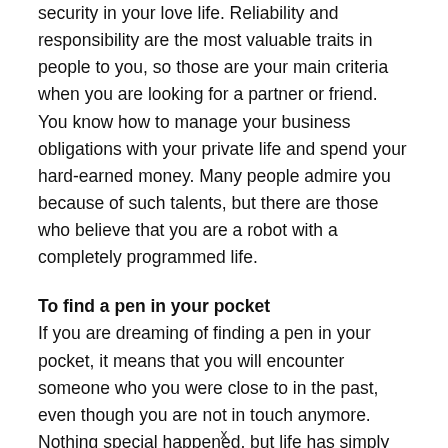security in your love life. Reliability and responsibility are the most valuable traits in people to you, so those are your main criteria when you are looking for a partner or friend. You know how to manage your business obligations with your private life and spend your hard-earned money. Many people admire you because of such talents, but there are those who believe that you are a robot with a completely programmed life.
To find a pen in your pocket
If you are dreaming of finding a pen in your pocket, it means that you will encounter someone who you were close to in the past, even though you are not in touch anymore. Nothing special happened, but life has simply taken you on different paths. You will decide to go to
x